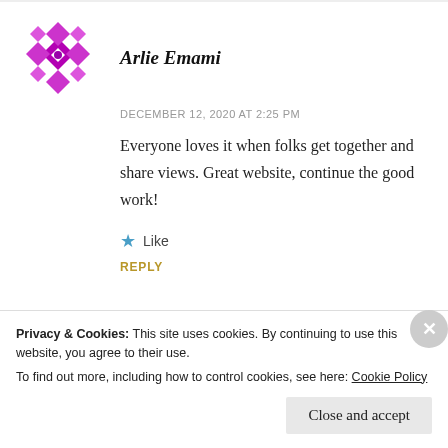[Figure (illustration): Purple geometric/diamond pattern avatar icon for user Arlie Emami]
Arlie Emami
DECEMBER 12, 2020 AT 2:25 PM
Everyone loves it when folks get together and share views. Great website, continue the good work!
★ Like
REPLY
Privacy & Cookies: This site uses cookies. By continuing to use this website, you agree to their use.
To find out more, including how to control cookies, see here: Cookie Policy